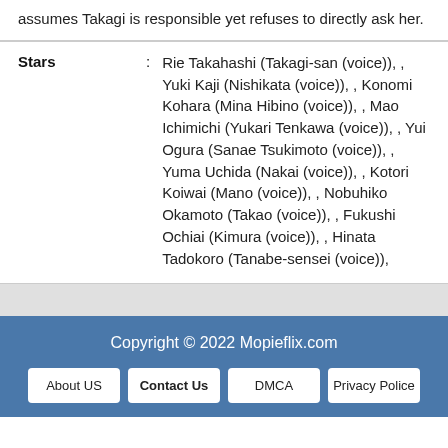assumes Takagi is responsible yet refuses to directly ask her.
| Stars | Value |
| --- | --- |
| Stars | Rie Takahashi (Takagi-san (voice)), , Yuki Kaji (Nishikata (voice)), , Konomi Kohara (Mina Hibino (voice)), , Mao Ichimichi (Yukari Tenkawa (voice)), , Yui Ogura (Sanae Tsukimoto (voice)), , Yuma Uchida (Nakai (voice)), , Kotori Koiwai (Mano (voice)), , Nobuhiko Okamoto (Takao (voice)), , Fukushi Ochiai (Kimura (voice)), , Hinata Tadokoro (Tanabe-sensei (voice)), |
Copyright © 2022 Mopieflix.com
About US | Contact Us | DMCA | Privacy Police